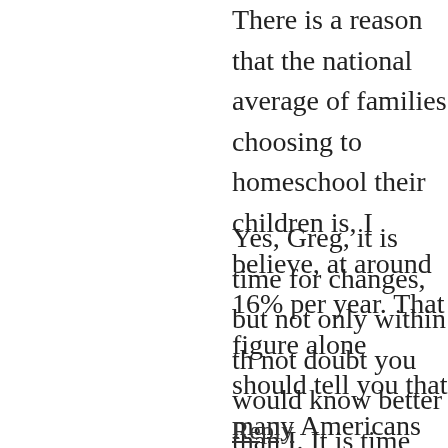There is a reason that the national average of families choosing to homeschool their children is, I believe, at around 16% per year. That figure alone should tell you that many Americans are tired of the influence schools have on their children and what they actually learn there, as well as the things they aren't learning.
Yes, Greg, it is time for changes, but not only within the school system as I do not doubt you would know better than I. It is time for changes in every aspect of our community and it is time for those of us, whose are the majority in this country, to send a very clear and concise message to those in Washington, D.C., the Federal Reserve (which is by NO MEANS a Federal entity, it is a private corporation) (through which more and more policy is being influenced) and those people who have NO Federal or elected powers whatsoever to be so influencing it (Council on Foreign Relations, National Security Council and The Trilateral Commission just to name a few examples), our other state and local elected officials that we have had enough of their greed against the American people. I do not advocate for violence, but I do advocate for people to come together as we have throughout the country already and let these politicians know that as American's, WE ARE DONE with the merry-go-round and begin to hold each and every one accountable.
Reply